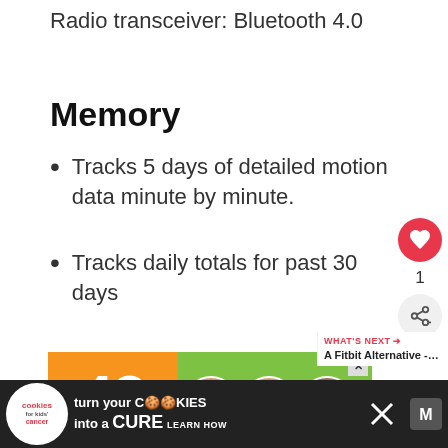Radio transceiver: Bluetooth 4.0
Memory
Tracks 5 days of detailed motion data minute by minute.
Tracks daily totals for past 30 days
[Figure (photo): Advertisement banner: orange and green background showing '43 CHILDREN' text with circular photos of children]
[Figure (infographic): Bottom ad bar: 'Cookies for Kids Cancer - turn your COOKIES into a CURE LEARN HOW']